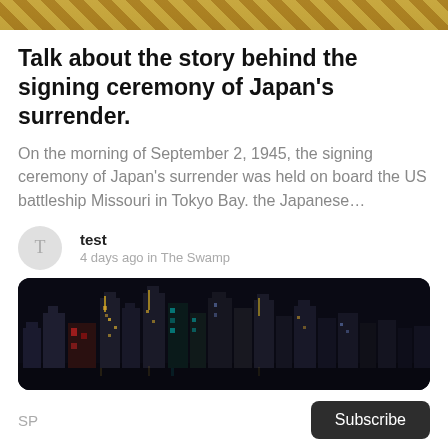[Figure (photo): Partial image of a gold-colored decorative object at the top of the page]
Talk about the story behind the signing ceremony of Japan's surrender.
On the morning of September 2, 1945, the signing ceremony of Japan's surrender was held on board the US battleship Missouri in Tokyo Bay. the Japanese…
test
4 days ago in The Swamp
[Figure (photo): Night cityscape showing an illuminated skyline with tall skyscrapers against a dark sky]
SP  Subscribe